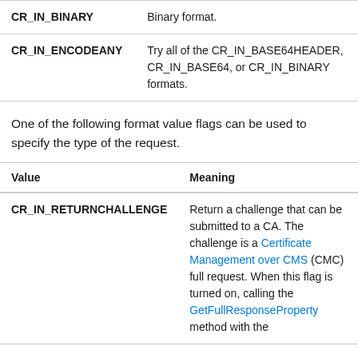| Value | Meaning |
| --- | --- |
| CR_IN_BINARY | Binary format. |
| CR_IN_ENCODEANY | Try all of the CR_IN_BASE64HEADER, CR_IN_BASE64, or CR_IN_BINARY formats. |
One of the following format value flags can be used to specify the type of the request.
| Value | Meaning |
| --- | --- |
| CR_IN_RETURNCHALLENGE | Return a challenge that can be submitted to a CA. The challenge is a Certificate Management over CMS (CMC) full request. When this flag is turned on, calling the GetFullResponseProperty method with the |